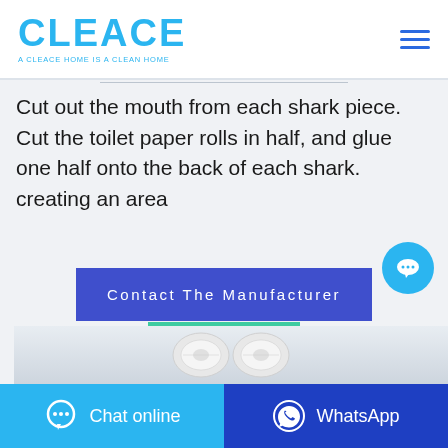[Figure (logo): CLEACE logo in cyan/blue with tagline 'A CLEACE HOME IS A CLEAN HOME']
Cut out the mouth from each shark piece. Cut the toilet paper rolls in half, and glue one half onto the back of each shark. creating an area
Contact The Manufacturer
WhatsApp
[Figure (photo): Toilet paper rolls stacked]
Chat online
WhatsApp